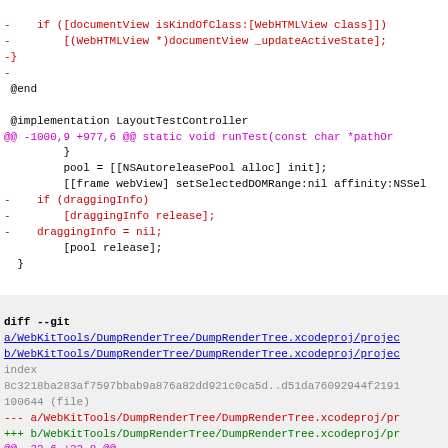Code diff showing Objective-C implementation and git diff for DumpRenderTree.xcodeproj
-    if ([documentView isKindOfClass:[WebHTMLView class]])
-        [(WebHTMLView *)documentView _updateActiveState];
-}
-
 @end

 @implementation LayoutTestController
@@ -1000,9 +977,6 @@ static void runTest(const char *pathOr...
         }
         pool = [[NSAutoreleasePool alloc] init];
         [[frame webView] setSelectedDOMRange:nil affinity:NSSel...
-    if (draggingInfo)
-        [draggingInfo release];
-    draggingInfo = nil;
         [pool release];
  }
diff --git a/WebKitTools/DumpRenderTree/DumpRenderTree.xcodeproj/project... b/WebKitTools/DumpRenderTree/DumpRenderTree.xcodeproj/project...
index 8c3218ba283af7597bbab9a876a82dd921c0ca5d..d51da76092944f2191... 100644 (file)
--- a/WebKitTools/DumpRenderTree/DumpRenderTree.xcodeproj/pr...
+++ b/WebKitTools/DumpRenderTree/DumpRenderTree.xcodeproj/pr...
@@ -32,6 +32,8 @@
         141BF44B096A45C800E0753C /* PluginObject.c i...
         141BF44C096A45C800E0753C /* Info.plist in Re...
         141BF453096A45EB00E0753C /* PluginObject.h i...
+        1422A1BA0AF6EDD600E1A883 /* UIDelegate.h in...
+        1422A1BB0AF6EDD600E1A883 /* UIDelegate.m...